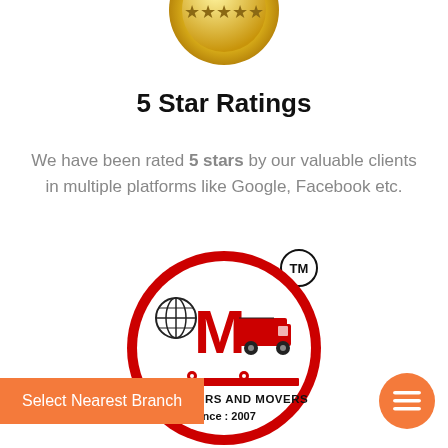[Figure (illustration): Gold medal/badge award icon at the top center of the page]
5 Star Ratings
We have been rated 5 stars by our valuable clients in multiple platforms like Google, Facebook etc.
[Figure (logo): Om Packers and Movers circular logo with globe icon, truck, and text 'OM PACKERS AND MOVERS Since : 2007', with TM trademark badge]
Select Nearest Branch